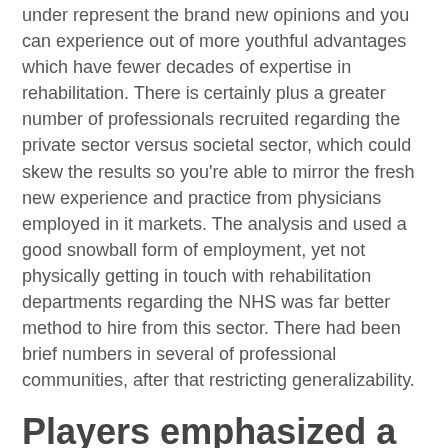under represent the brand new opinions and you can experience out of more youthful advantages which have fewer decades of expertise in rehabilitation. There is certainly plus a greater number of professionals recruited regarding the private sector versus societal sector, which could skew the results so you're able to mirror the fresh new experience and practice from physicians employed in it markets. The analysis and used a good snowball form of employment, yet not physically getting in touch with rehabilitation departments regarding the NHS was far better method to hire from this sector. There had been brief numbers in several of professional communities, after that restricting generalizability.
Players emphasized a variety of interventions to own matchmaking skills although not, next studies are wanted